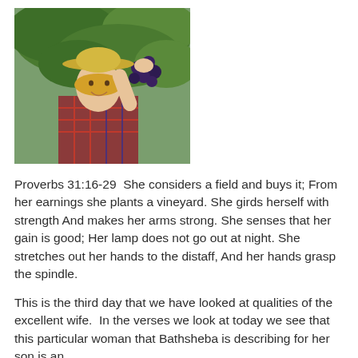[Figure (photo): A smiling young woman wearing a straw hat and plaid shirt, picking dark grapes from a vine in a vineyard.]
Proverbs 31:16-29  She considers a field and buys it; From her earnings she plants a vineyard. She girds herself with strength And makes her arms strong. She senses that her gain is good; Her lamp does not go out at night. She stretches out her hands to the distaff, And her hands grasp the spindle.
This is the third day that we have looked at qualities of the excellent wife.  In the verses we look at today we see that this particular woman that Bathsheba is describing for her son is an